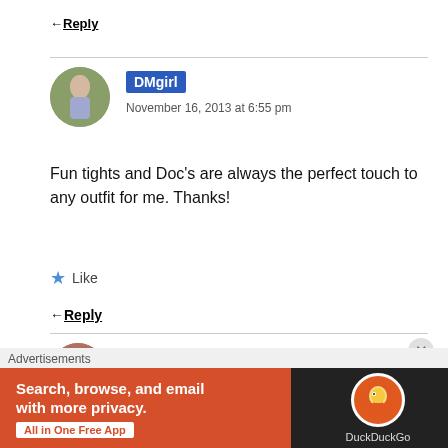← Reply
DMgirl
November 16, 2013 at 6:55 pm
Fun tights and Doc's are always the perfect touch to any outfit for me. Thanks!
★ Like
← Reply
Jennie
Advertisements
Search, browse, and email with more privacy. All in One Free App
DuckDuckGo